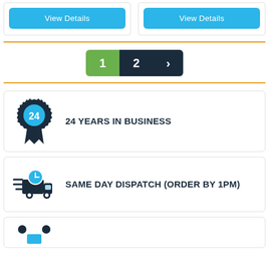[Figure (screenshot): Two product cards side by side each with a blue 'View Details' button]
[Figure (infographic): Pagination control showing page 1 (green/active), page 2, and a next arrow on dark navy background]
[Figure (infographic): Info card with a badge/medal icon showing '24' and text '24 YEARS IN BUSINESS']
[Figure (infographic): Info card with a delivery truck with clock icon and text 'SAME DAY DISPATCH (ORDER BY 1PM)']
[Figure (infographic): Partial info card at bottom with person/figure icons (partially visible)]